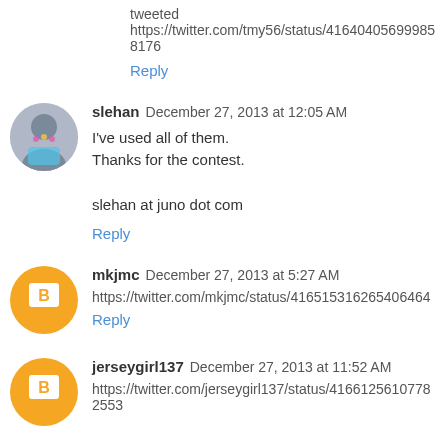tweeted
https://twitter.com/tmy56/status/416404056999858176
Reply
slehan  December 27, 2013 at 12:05 AM
I've used all of them.
Thanks for the contest.

slehan at juno dot com
Reply
mkjmc  December 27, 2013 at 5:27 AM
https://twitter.com/mkjmc/status/416515316265406464
Reply
jerseygirl137  December 27, 2013 at 11:52 AM
https://twitter.com/jerseygirl137/status/416612561077825536